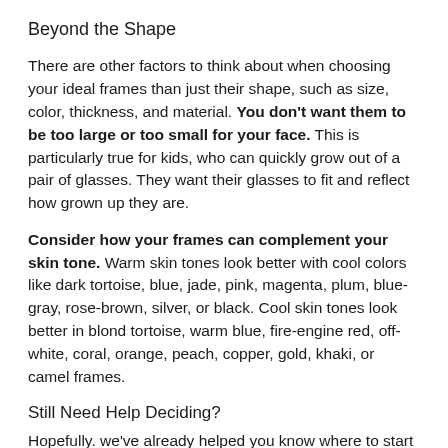Beyond the Shape
There are other factors to think about when choosing your ideal frames than just their shape, such as size, color, thickness, and material. You don't want them to be too large or too small for your face. This is particularly true for kids, who can quickly grow out of a pair of glasses. They want their glasses to fit and reflect how grown up they are.
Consider how your frames can complement your skin tone. Warm skin tones look better with cool colors like dark tortoise, blue, jade, pink, magenta, plum, blue-gray, rose-brown, silver, or black. Cool skin tones look better in blond tortoise, warm blue, fire-engine red, off-white, coral, orange, peach, copper, gold, khaki, or camel frames.
Still Need Help Deciding?
Hopefully. we've already helped you know where to start when purchasing new frames, but if you still need...